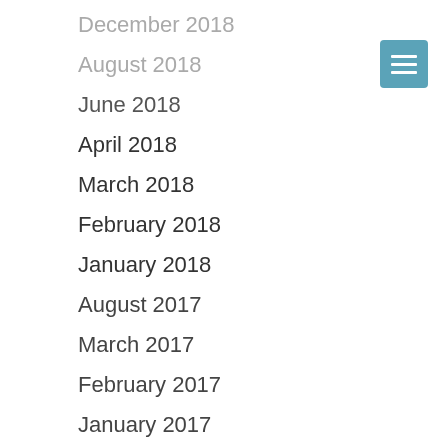December 2018
August 2018
June 2018
April 2018
March 2018
February 2018
January 2018
August 2017
March 2017
February 2017
January 2017
October 2016